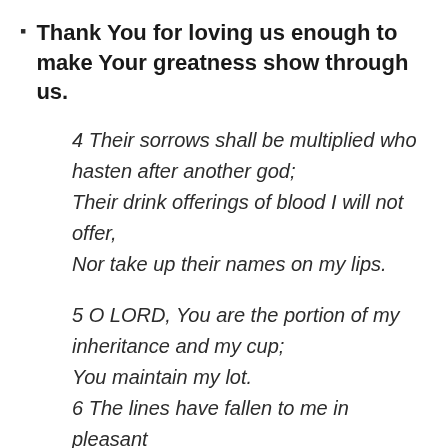Thank You for loving us enough to make Your greatness show through us.
4 Their sorrows shall be multiplied who hasten after another god; Their drink offerings of blood I will not offer, Nor take up their names on my lips.
5 O LORD, You are the portion of my inheritance and my cup; You maintain my lot. 6 The lines have fallen to me in pleasant places;